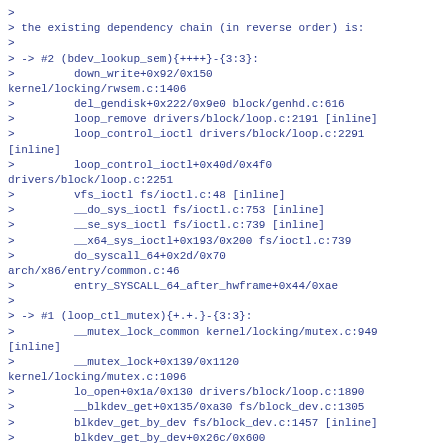>
> the existing dependency chain (in reverse order) is:
>
> -> #2 (bdev_lookup_sem){++++}-{3:3}:
>         down_write+0x92/0x150
kernel/locking/rwsem.c:1406
>         del_gendisk+0x222/0x9e0 block/genhd.c:616
>         loop_remove drivers/block/loop.c:2191 [inline]
>         loop_control_ioctl drivers/block/loop.c:2291
[inline]
>         loop_control_ioctl+0x40d/0x4f0
drivers/block/loop.c:2251
>         vfs_ioctl fs/ioctl.c:48 [inline]
>         __do_sys_ioctl fs/ioctl.c:753 [inline]
>         __se_sys_ioctl fs/ioctl.c:739 [inline]
>         __x64_sys_ioctl+0x193/0x200 fs/ioctl.c:739
>         do_syscall_64+0x2d/0x70
arch/x86/entry/common.c:46
>         entry_SYSCALL_64_after_hwframe+0x44/0xae
>
> -> #1 (loop_ctl_mutex){+.+.}-{3:3}:
>         __mutex_lock_common kernel/locking/mutex.c:949
[inline]
>         __mutex_lock+0x139/0x1120
kernel/locking/mutex.c:1096
>         lo_open+0x1a/0x130 drivers/block/loop.c:1890
>         __blkdev_get+0x135/0xa30 fs/block_dev.c:1305
>         blkdev_get_by_dev fs/block_dev.c:1457 [inline]
>         blkdev_get_by_dev+0x26c/0x600
fs/block_dev.c:1425